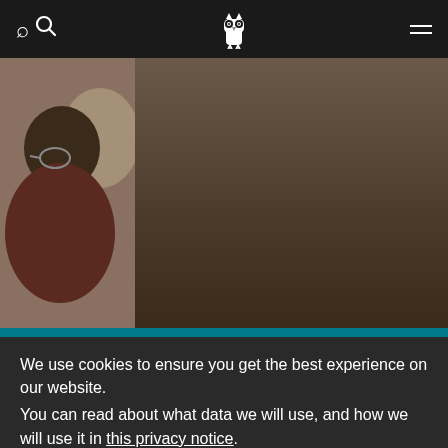Navigation bar with search icon, owl logo, and menu
[Figure (photo): Person with glasses seen from behind/side, dark hair, in a lecture or classroom setting]
ALEC RODGER MEMORIAL LECTURES
Since 1983, these lectures have been held annually to honour the department's impact and the influence of one of its founding members.
We use cookies to ensure you get the best experience on our website.
You can read about what data we will use, and how we will use it in this privacy notice.